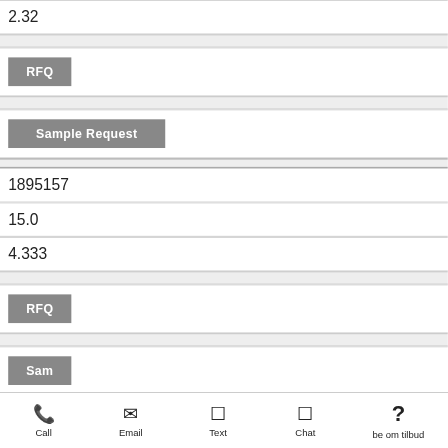| 2.32 |
| RFQ |
| Sample Request |
| 1895157 |
| 15.0 |
| 4.333 |
| RFQ |
| Sam |
Cookies & Privacy
This website uses cookies to ensure you get the best experience on our website. More information
Accept Cookies
Call  Email  Text  Chat  be om tilbud